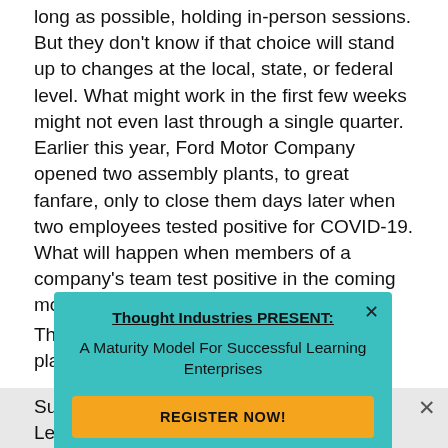Some companies have already committed to, for as long as possible, holding in-person sessions. But they don't know if that choice will stand up to changes at the local, state, or federal level. What might work in the first few weeks might not even last through a single quarter. Earlier this year, Ford Motor Company opened two assembly plants, to great fanfare, only to close them days later when two employees tested positive for COVID-19. What will happen when members of a company's team test positive in the coming months?
The only way to deal with uncertainty is to plan for it. L...
[Figure (other): A popup modal overlay with teal/turquoise background. Title: 'Thought Industries PRESENT:' (bold, underlined). Subtitle: 'A Maturity Model For Successful Learning Enterprises'. A yellow/orange button labeled 'REGISTER NOW!' A close X button in the top right corner.]
Su... Le... el...